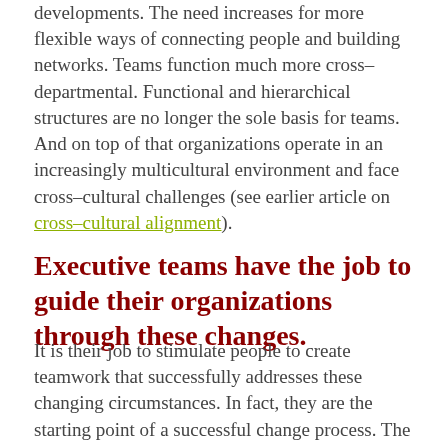developments. The need increases for more flexible ways of connecting people and building networks. Teams function much more cross-departmental. Functional and hierarchical structures are no longer the sole basis for teams. And on top of that organizations operate in an increasingly multicultural environment and face cross-cultural challenges (see earlier article on cross-cultural alignment).
Executive teams have the job to guide their organizations through these changes.
It is their job to stimulate people to create teamwork that successfully addresses these changing circumstances. In fact, they are the starting point of a successful change process. The executive team's behavior is a vital example to the rest of the organization. Their level of alignment as a